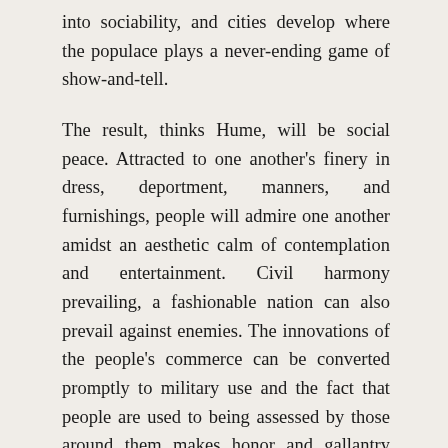into sociability, and cities develop where the populace plays a never-ending game of show-and-tell.
The result, thinks Hume, will be social peace. Attracted to one another's finery in dress, deportment, manners, and furnishings, people will admire one another amidst an aesthetic calm of contemplation and entertainment. Civil harmony prevailing, a fashionable nation can also prevail against enemies. The innovations of the people's commerce can be converted promptly to military use and the fact that people are used to being assessed by those around them makes honor and gallantry marks of the citizenry.
This is the great Whig vision of politics. And